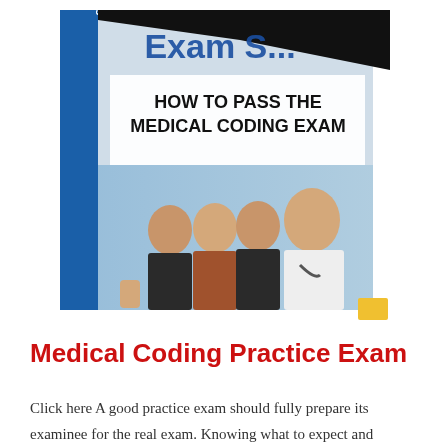[Figure (photo): Book cover image of 'How to Pass the Medical Coding Exam' with a blue spine reading 'Coding Exam Strate...' and a photo of three women and a male doctor in a white coat with stethoscope]
Medical Coding Practice Exam
Click here A good practice exam should fully prepare its examinee for the real exam. Knowing what to expect and